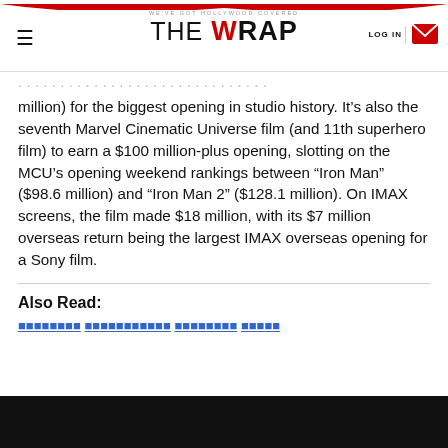WE'VE GOT HOLLYWOOD COVERED | THE WRAP | LOG IN
million) for the biggest opening in studio history. It’s also the seventh Marvel Cinematic Universe film (and 11th superhero film) to earn a $100 million-plus opening, slotting on the MCU’s opening weekend rankings between “Iron Man” ($98.6 million) and “Iron Man 2” ($128.1 million). On IMAX screens, the film made $18 million, with its $7 million overseas return being the largest IMAX overseas opening for a Sony film.
Also Read: